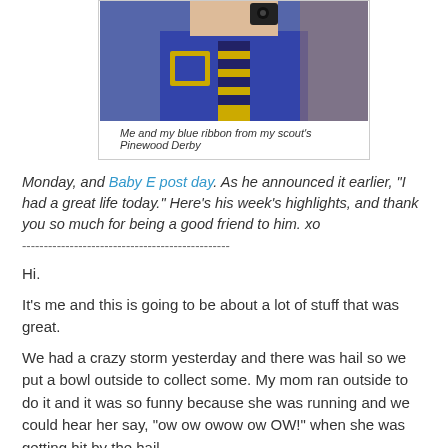[Figure (photo): Photo of a person in a blue scout uniform with yellow/black striped tie holding something, cropped at top]
Me and my blue ribbon from my scout's Pinewood Derby
Monday, and Baby E post day. As he announced it earlier, "I had a great life today." Here's his week's highlights, and thank you so much for being a good friend to him. xo
------------------------------------------------
Hi.
It's me and this is going to be about a lot of stuff that was great.
We had a crazy storm yesterday and there was hail so we put a bowl outside to collect some. My mom ran outside to do it and it was so funny because she was running and we could hear her say, "ow ow owow ow OW!" when she was getting hit by the hail.